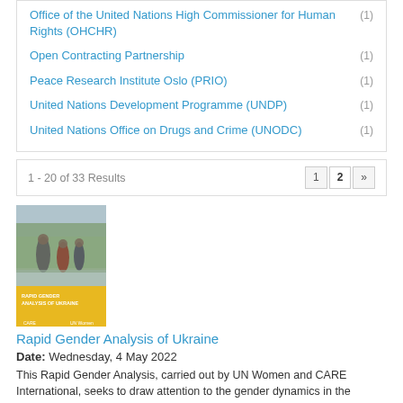Office of the United Nations High Commissioner for Human Rights (OHCHR) (1)
Open Contracting Partnership (1)
Peace Research Institute Oslo (PRIO) (1)
United Nations Development Programme (UNDP) (1)
United Nations Office on Drugs and Crime (UNODC) (1)
1 - 20 of 33 Results
[Figure (photo): Book cover of Rapid Gender Analysis of Ukraine report showing people walking, with yellow banner at bottom]
Rapid Gender Analysis of Ukraine
Date: Wednesday, 4 May 2022
This Rapid Gender Analysis, carried out by UN Women and CARE International, seeks to draw attention to the gender dynamics in the humanitarian crisis resulting from the war in Ukraine. It also